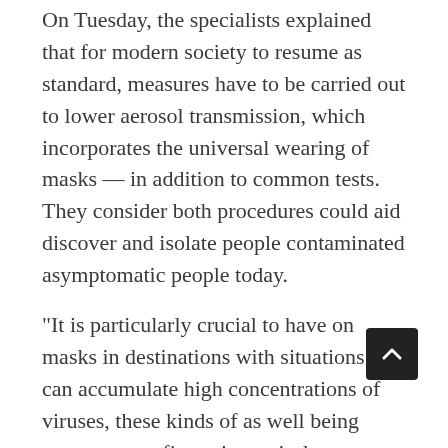On Tuesday, the specialists explained that for modern society to resume as standard, measures have to be carried out to lower aerosol transmission, which incorporates the universal wearing of masks — in addition to common tests. They consider both procedures could aid discover and isolate people contaminated asymptomatic people today.
“It is particularly crucial to have on masks in destinations with situations that can accumulate high concentrations of viruses, these kinds of as well being treatment configurations, airplanes, dining places, and other crowded locations with lessened air flow,” they added.
The perspective write-up mentioned that countries — like Taiwan, Hong Kong, Singapore, and South